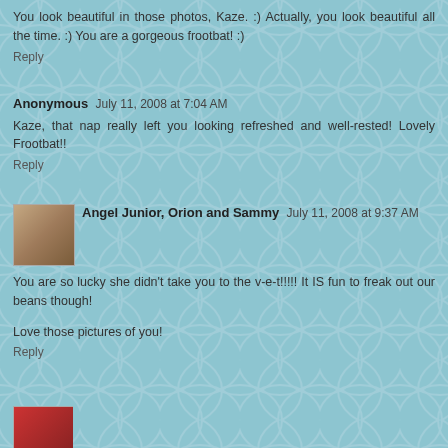You look beautiful in those photos, Kaze. :) Actually, you look beautiful all the time. :) You are a gorgeous frootbat! :)
Reply
Anonymous  July 11, 2008 at 7:04 AM
Kaze, that nap really left you looking refreshed and well-rested! Lovely Frootbat!!
Reply
Angel Junior, Orion and Sammy  July 11, 2008 at 9:37 AM
You are so lucky she didn't take you to the v-e-t!!!!! It IS fun to freak out our beans though!
Love those pictures of you!
Reply